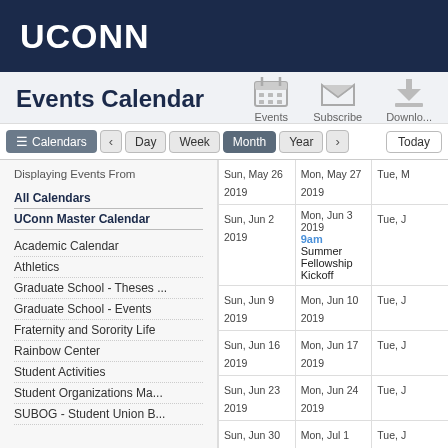UCONN
Events Calendar
Events  Subscribe  Download
Calendars  <  Day  Week  Month  Year  >  Today
Displaying Events From
All Calendars
UConn Master Calendar
Academic Calendar
Athletics
Graduate School - Theses ...
Graduate School - Events
Fraternity and Sorority Life
Rainbow Center
Student Activities
Student Organizations Ma...
SUBOG - Student Union B...
| Sun | Mon | Tue |
| --- | --- | --- |
| Sun, May 26 2019 | Mon, May 27 2019 | Tue, M... |
| Sun, Jun 2 2019 | Mon, Jun 3 2019
9am
Summer Fellowship Kickoff | Tue, J... |
| Sun, Jun 9 2019 | Mon, Jun 10 2019 | Tue, J... |
| Sun, Jun 16 2019 | Mon, Jun 17 2019 | Tue, J... |
| Sun, Jun 23 2019 | Mon, Jun 24 2019 | Tue, J... |
| Sun, Jun 30 2019 | Mon, Jul 1 2019 | Tue, J... |